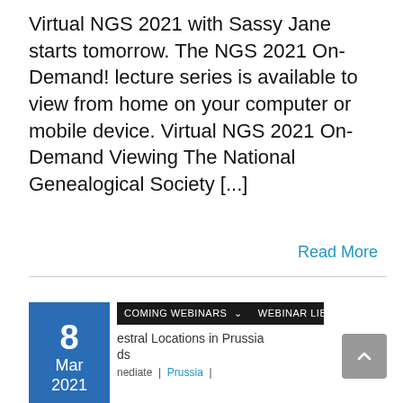Virtual NGS 2021 with Sassy Jane starts tomorrow. The NGS 2021 On-Demand! lecture series is available to view from home on your computer or mobile device. Virtual NGS 2021 On-Demand Viewing The National Genealogical Society [...]
Read More
[Figure (screenshot): Date badge showing '8 Mar 2021' in blue, next to a screenshot of a webinar website showing navigation bar with 'COMING WEBINARS' and 'WEBINAR LIBRAR' text, and article title about 'estral Locations in Prussia' and metadata showing 'nediate | Prussia |']